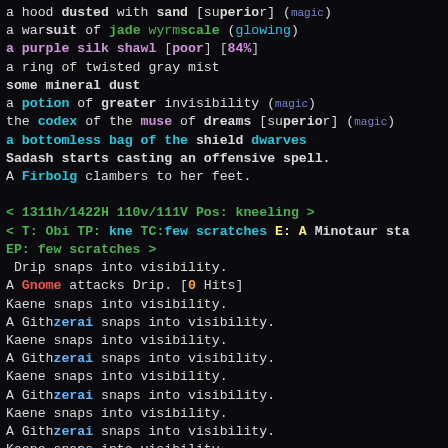a hood dusted with sand [superior] (magic)
a warsuit of jade wyrmscale (glowing)
a purple silk shawl [poor] [84%]
a ring of twisted gray mist
some mineral dust
a potion of greater invisibility (magic)
the codex of the muse of dreams [superior] (magic)
a bottomless bag of the shield dwarves
Sadash starts casting an offensive spell.
A Firbolg clambers to her feet.
< 1311h/1422H 110v/111V Pos: kneeling >
< T: Obi TP: kne TC:few scratches E: A Minotaur sta
EP: few scratches >
Drip snaps into visibility.
A Gnome attacks Drip. [0 Hits]
Kaene snaps into visibility.
A Githzerai snaps into visibility.
Kaene snaps into visibility.
A Githzerai snaps into visibility.
Kaene snaps into visibility.
A Githzerai snaps into visibility.
Kaene snaps into visibility.
A Githzerai snaps into visibility.
Kaene snaps into visibility.